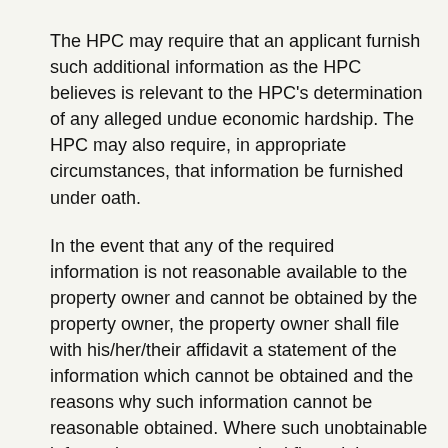The HPC may require that an applicant furnish such additional information as the HPC believes is relevant to the HPC's determination of any alleged undue economic hardship. The HPC may also require, in appropriate circumstances, that information be furnished under oath.
In the event that any of the required information is not reasonable available to the property owner and cannot be obtained by the property owner, the property owner shall file with his/her/their affidavit a statement of the information which cannot be obtained and the reasons why such information cannot be reasonable obtained. Where such unobtainable information concerns required financial information, the property owner will submit a statement describing estimates which be as accurate as feasible.
Building Conditio...